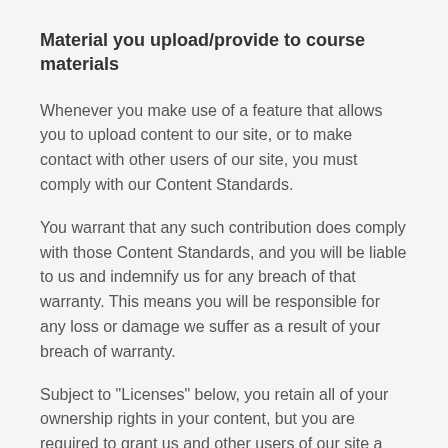Material you upload/provide to course materials
Whenever you make use of a feature that allows you to upload content to our site, or to make contact with other users of our site, you must comply with our Content Standards.
You warrant that any such contribution does comply with those Content Standards, and you will be liable to us and indemnify us for any breach of that warranty. This means you will be responsible for any loss or damage we suffer as a result of your breach of warranty.
Subject to "Licenses" below, you retain all of your ownership rights in your content, but you are required to grant us and other users of our site a licence to use, store and copy that content and to distribute and make it available to third